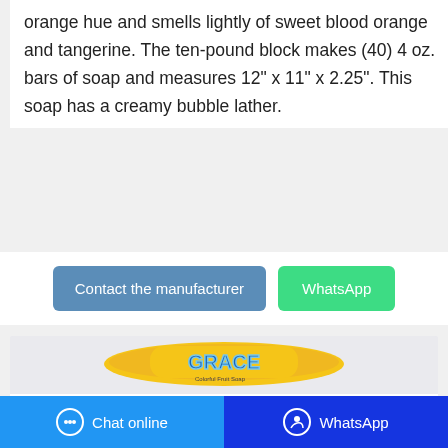orange hue and smells lightly of sweet blood orange and tangerine. The ten-pound block makes (40) 4 oz. bars of soap and measures 12" x 11" x 2.25". This soap has a creamy bubble lather.
[Figure (other): Two call-to-action buttons: 'Contact the manufacturer' (blue/steel) and 'WhatsApp' (green)]
[Figure (photo): Product photo of a bar of Grace Colorful Fruit Soap in yellow/orange packaging with blue branded text 'GRACE', shown on a light gray background with a reflection underneath.]
Chat online   WhatsApp